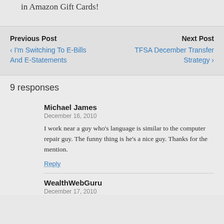in Amazon Gift Cards!
Previous Post
‹ I'm Switching To E-Bills And E-Statements
Next Post
TFSA December Transfer Strategy ›
9 responses
Michael James
December 16, 2010
I work near a guy who's language is similar to the computer repair guy. The funny thing is he's a nice guy. Thanks for the mention.
Reply
WealthWebGuru
December 17, 2010